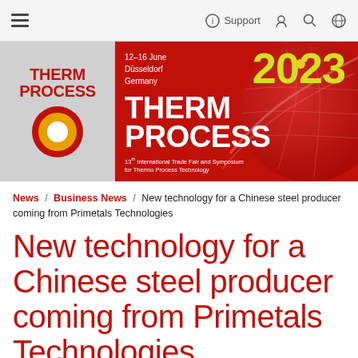≡  Support  👤  🔍  🌐
[Figure (illustration): Therm Process 2023 banner: logo on left with red circle and yellow sun, year 2023 in yellow, globe graphic on right, text '12–16 June Düsseldorf Germany', 'THERM PROCESS', '13th International Trade Fair and Symposium for Thermo Process Technology']
News / Business News / New technology for a Chinese steel producer coming from Primetals Technologies
New technology for a Chinese steel producer coming from Primetals Technologies